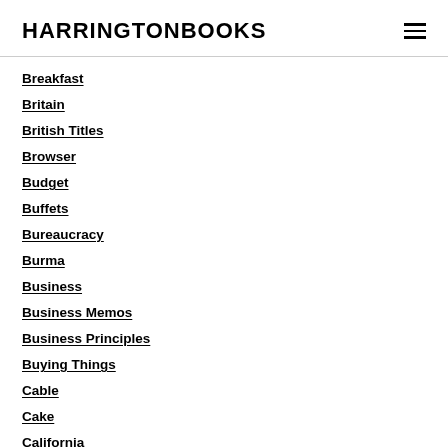HARRINGTONBOOKS
Breakfast
Britain
British Titles
Browser
Budget
Buffets
Bureaucracy
Burma
Business
Business Memos
Business Principles
Buying Things
Cable
Cake
California
Camera